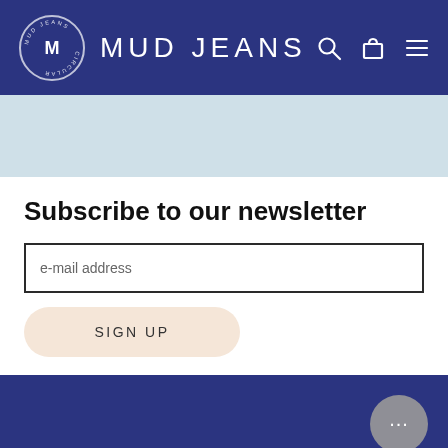MUD JEANS
Subscribe to our newsletter
e-mail address
SIGN UP
Company